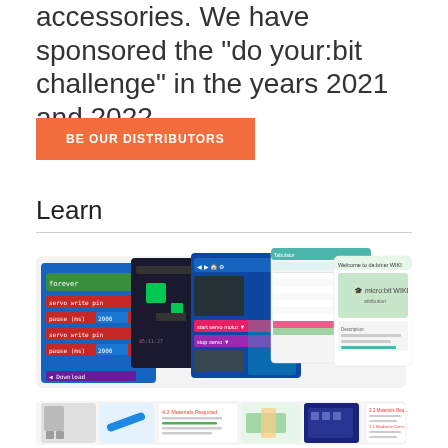accessories. We have sponsored the "do your:bit challenge" in the years 2021 and 2022.
BE OUR DISTRIBUTORS
Learn
[Figure (screenshot): A collage of overlapping screenshots showing micro:bit programming interfaces, a game screen, a spreadsheet/table view, and the micro:bit WIKI welcome page with a micro:bit board image.]
[Figure (screenshot): A collage of overlapping screenshots showing tutorial/lesson pages with images of robots and hands interacting with electronic components, and text sections labeled Materials Required and Hardware Connections.]